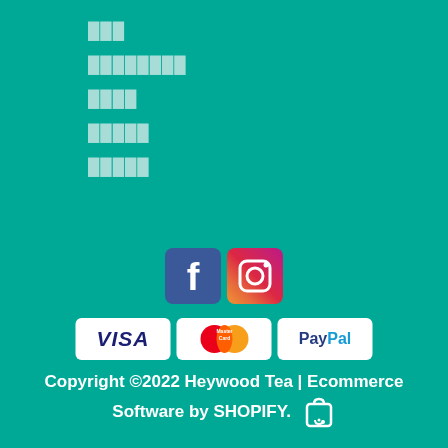███
████████
████
█████
█████
[Figure (logo): Facebook and Instagram social media icons]
[Figure (logo): VISA, Mastercard, and PayPal payment method badges]
Copyright ©2022 Heywood Tea | Ecommerce Software by SHOPIFY.